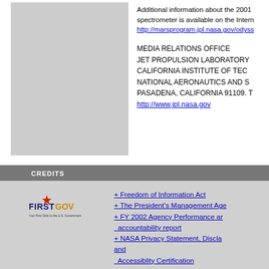[Figure (other): Gray placeholder image box]
Additional information about the 2001 spectrometer is available on the Internet: http://marsprogram.jpl.nasa.gov/odyss
MEDIA RELATIONS OFFICE
JET PROPULSION LABORATORY
CALIFORNIA INSTITUTE OF TECH
NATIONAL AERONAUTICS AND S
PASADENA, CALIFORNIA 91109. T
http://www.jpl.nasa.gov
CREDITS
[Figure (logo): FirstGov logo - Your First Click to the U.S. Government]
+ Freedom of Information Act
+ The President's Management Age
+ FY 2002 Agency Performance and accountability report
+ NASA Privacy Statement, Discla and Accessiblity Certification
+ Freedom to Manage